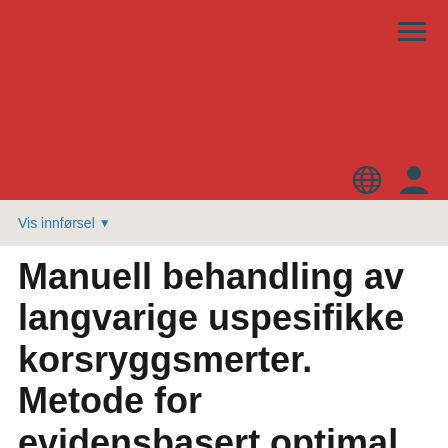[Figure (screenshot): Red header banner with hamburger menu icon at top right, globe and user icons at bottom right of header]
Vis innførsel ▾
Manuell behandling av langvarige uspesifikke korsryggsmerter. Metode for evidensbasert optimal dosering.
Glomsrød, Espen